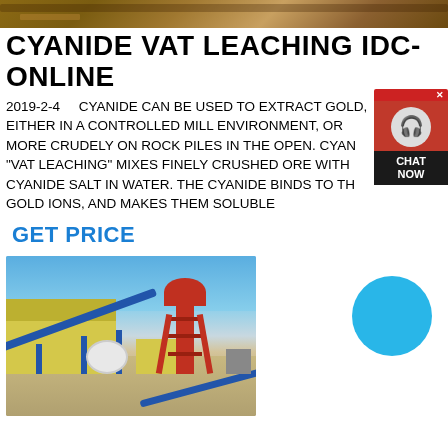[Figure (photo): Top banner image showing a textured rusty/rocky surface in brown and tan tones]
CYANIDE VAT LEACHING IDC-ONLINE
2019-2-4    CYANIDE CAN BE USED TO EXTRACT GOLD, EITHER IN A CONTROLLED MILL ENVIRONMENT, OR MORE CRUDELY ON ROCK PILES IN THE OPEN. CYAN... "VAT LEACHING" MIXES FINELY CRUSHED ORE WITH CYANIDE SALT IN WATER. THE CYANIDE BINDS TO TH... GOLD IONS, AND MAKES THEM SOLUBLE
GET PRICE
[Figure (photo): Photograph of an industrial mining processing plant with blue conveyor belts, yellow buildings, a red metal tower/cyclone structure, under a clear blue sky, on sandy ground]
[Figure (other): Chat widget with red background, headset icon, and 'Chat Now' label; and a blue circular chat button]